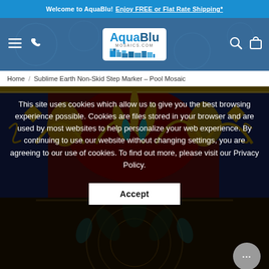Welcome to AquaBlu! Enjoy FREE or Flat Rate Shipping*
[Figure (logo): AquaBlu Mosaics.com logo with mosaic tile graphic]
Home / Sublime Earth Non-Skid Step Marker – Pool Mosaic
[Figure (photo): Sublime Earth Non-Skid Step Marker Pool Mosaic product image — ornate Byzantine/Islamic pattern in deep red, navy blue, gold, and teal]
This site uses cookies which allow us to give you the best browsing experience possible. Cookies are files stored in your browser and are used by most websites to help personalize your web experience. By continuing to use our website without changing settings, you are agreeing to our use of cookies. To find out more, please visit our Privacy Policy.